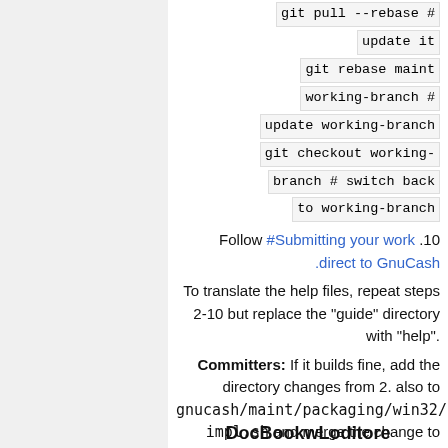git pull --rebase # update it
git rebase maint working-branch # update working-branch
git checkout working-branch # switch back to working-branch
Follow #Submitting your work .10 .direct to GnuCash
To translate the help files, repeat steps 2-10 but replace the "guide" directory with "help".
Committers: If it builds fine, add the directory changes from 2. also to gnucash/maint/packaging/win32/install-impl.sh and merge the change to master, if required.
DocBookwLoditore